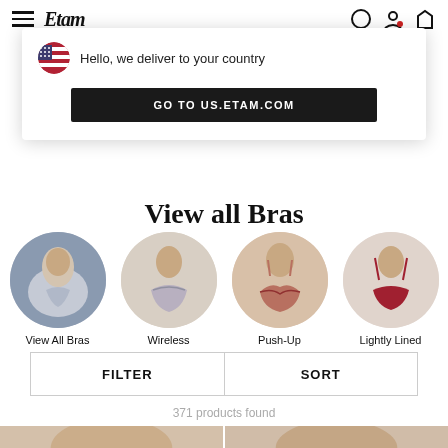Etam — navigation header with hamburger menu, logo, and icons
[Figure (screenshot): Popup banner: US flag icon, text 'Hello, we deliver to your country', and black button 'GO TO US.ETAM.COM']
View all Bras
[Figure (infographic): Four circular thumbnail images representing bra categories: View All Bras (woman in grey bra), Wireless (woman in grey wireless bra), Push-Up (woman in pink push-up bra), Lightly Lined (woman in red lightly lined bra)]
View All Bras
Wireless
Push-Up
Lightly Lined
FILTER    SORT
371 products found
[Figure (photo): Two partial product photos of women modeling bras at the bottom of the page, visible from neck/shoulder down]